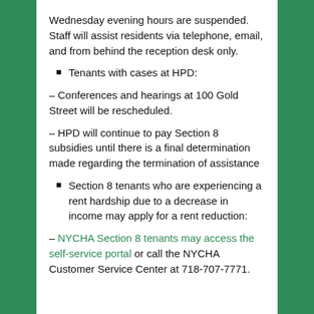Wednesday evening hours are suspended. Staff will assist residents via telephone, email, and from behind the reception desk only.
Tenants with cases at HPD:
– Conferences and hearings at 100 Gold Street will be rescheduled.
– HPD will continue to pay Section 8 subsidies until there is a final determination made regarding the termination of assistance
Section 8 tenants who are experiencing a rent hardship due to a decrease in income may apply for a rent reduction:
– NYCHA Section 8 tenants may access the self-service portal or call the NYCHA Customer Service Center at 718-707-7771.